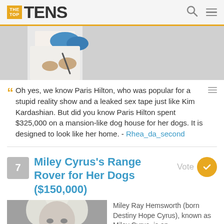THE TOP TENS
[Figure (photo): Partial photo of a person in white shirt, cropped showing torso/hands area]
Oh yes, we know Paris Hilton, who was popular for a stupid reality show and a leaked sex tape just like Kim Kardashian. But did you know Paris Hilton spent $325,000 on a mansion-like dog house for her dogs. It is designed to look like her home. - Rhea_da_second
7 Miley Cyrus's Range Rover for Her Dogs ($150,000) Vote
[Figure (photo): Black and white photo of Miley Cyrus, cropped showing face and upper body]
Miley Ray Hemsworth (born Destiny Hope Cyrus), known as Miley Cyrus, is an